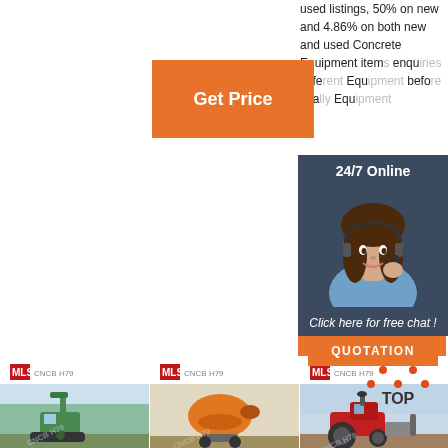used listings, 50% on new and 4.86% on both new and used Concrete Equipment items enquiries from different Equipment before finally Equipment
[Figure (other): Orange 'Get Price' button]
[Figure (other): 24/7 Online chat overlay with agent photo, 'Click here for free chat!' text, and QUOTATION button]
[Figure (other): Orange 'Get...' quotation button]
[Figure (logo): MLS CNCB H79 logo left]
[Figure (logo): MLS CNCB H79 logo center]
[Figure (other): MLS CNCB H79 logo right with TOP icon]
[Figure (photo): Construction excavator with concrete machinery]
[Figure (photo): Orange concrete mixer drum]
[Figure (photo): Red tractor with equipment]